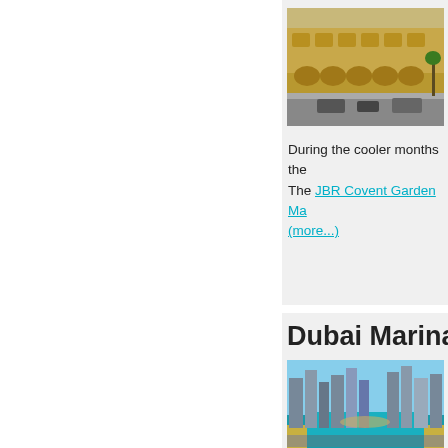[Figure (photo): Street-level photo of a tan/beige low-rise building with arched architecture, resembling a Middle Eastern residential street with cars parked along it.]
pe... Re... po... it's... an...
During the cooler months the... The JBR Covent Garden Ma... (more...)
Dubai Marina Prop...
[Figure (photo): Aerial photo of Dubai Marina showing skyscrapers, the marina waterway, and coastline from above.]
Du... ov... ap... clo... fea... clu... (m...